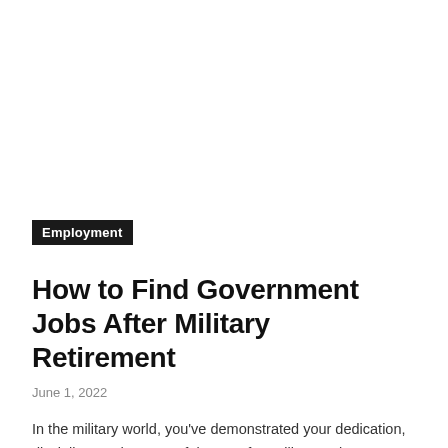Employment
How to Find Government Jobs After Military Retirement
June 1, 2022
In the military world, you've demonstrated your dedication, discipline, and resourcefulness. After military retirement though, you may need to find more work.You should know...